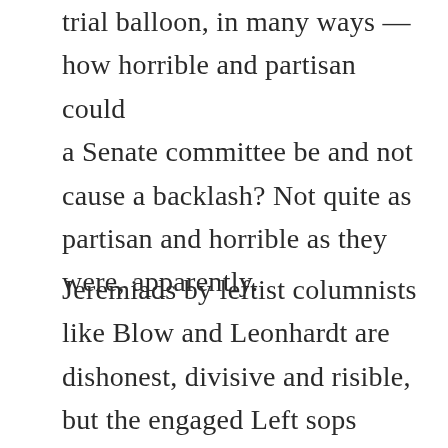trial balloon, in many ways — how horrible and partisan could a Senate committee be and not cause a backlash? Not quite as partisan and horrible as they were, apparently.
Jeremiads by leftist columnists like Blow and Leonhardt are dishonest, divisive and risible, but the engaged Left sops them